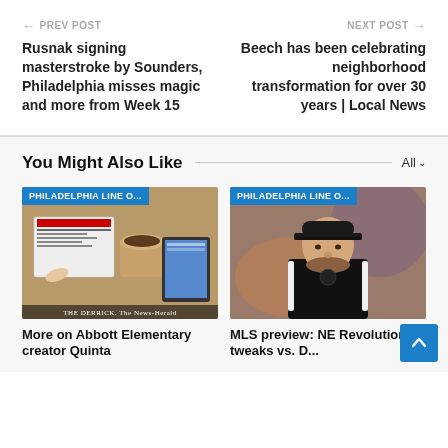← PREV POST
Rusnak signing masterstroke by Sounders, Philadelphia misses magic and more from Week 15
NEXT POST →
Beech has been celebrating neighborhood transformation for over 30 years | Local News
You Might Also Like
[Figure (photo): Newspaper and coffee scene with tablets showing Philadelphia Line Online logo]
More on Abbott Elementary creator Quinta
[Figure (photo): Man in black Adidas polo shirt, coach photo with Philadelphia Line Online logo]
MLS preview: NE Revolution tweaks vs. D...